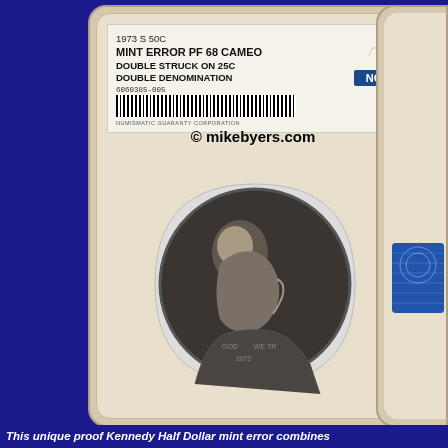[Figure (photo): NGC certified coin slab containing a 1973 S 50C Kennedy Half Dollar mint error graded PF 68 Cameo, double struck on 25C, double denomination. Certificate number 6060385-005. Shows Kennedy portrait on coin. Watermark reads © mikebyers.com. Partial second NGC slab visible at right edge.]
This unique proof Kennedy Half Dollar mint error combines